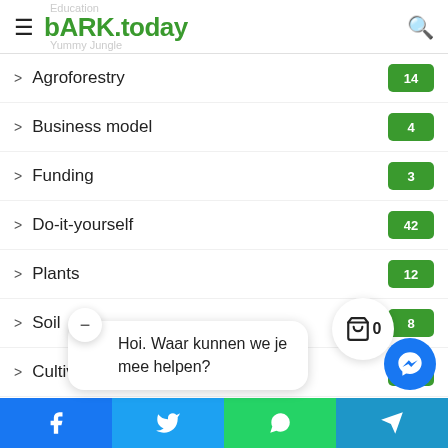bARK.today
Agroforestry  14
Business model  4
Funding  3
Do-it-yourself  42
Plants  12
Soil  8
Cultivation methodes  6
Masterclass  6
Design  4
Hoi. Waar kunnen we je mee helpen?